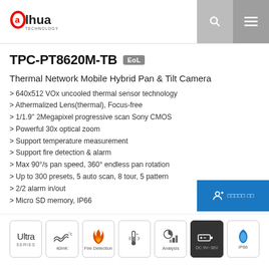Dahua Technology - TPC-PT8620M-TB
TPC-PT8620M-TB EoL
Thermal Network Mobile Hybrid Pan & Tilt Camera
640x512 VOx uncooled thermal sensor technology
Athermalized Lens(thermal), Focus-free
1/1.9" 2Megapixel progressive scan Sony CMOS
Powerful 30x optical zoom
Support temperature measurement
Support fire detection & alarm
Max 90°/s pan speed, 360° endless pan rotation
Up to 300 presets, 5 auto scan, 8 tour, 5 pattern
2/2 alarm in/out
Micro SD memory, IP66
[Figure (infographic): Product feature icons: Ultra Series, 40mK, Fire Detection, Temperature measurement, Analysis, DC 9V-36V, IP66]